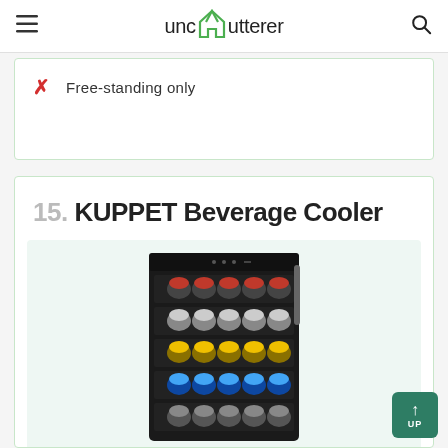unclutterer
Free-standing only
15. KUPPET Beverage Cooler
[Figure (photo): KUPPET Beverage Cooler product photo showing a black refrigerator unit filled with multiple rows of colorful beverage cans]